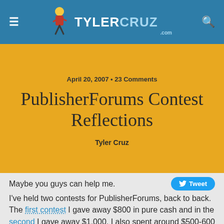TylerCruz.com
April 20, 2007 • 23 Comments
PublisherForums Contest Reflections
Tyler Cruz
Maybe you guys can help me.
I've held two contests for PublisherForums, back to back. The first contest I gave away $800 in pure cash and in the second I gave away $1,000. I also spent around $500-600 in marketing and advertising of the contest.